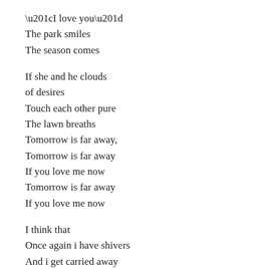“I love you”
The park smiles
The season comes

If she and he clouds
of desires
Touch each other pure
The lawn breaths
Tomorrow is far away,
Tomorrow is far away
If you love me now
Tomorrow is far away
If you love me now

I think that
Once again i have shivers
And i get carried away
By useless questions